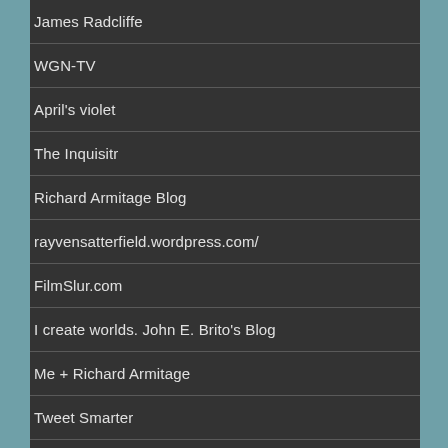James Radcliffe
WGN-TV
April's violet
The Inquisitr
Richard Armitage Blog
rayvensatterfield.wordpress.com/
FilmSlur.com
I create worlds. John E. Brito's Blog
Me + Richard Armitage
Tweet Smarter